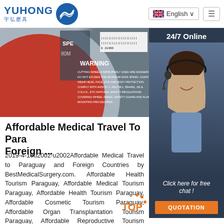YUHONG 宇弘磨具 | English | Menu
[Figure (photo): Close-up of a red and grey cutting wheel/abrasive disc with WARNING text and barcode visible. Text reads: WARNING - CUTTING WHEELS IMPROPERLY USED ARE DANGEROUS. DO NOT EXCEED THE MAXIMUM SAFE SPEED. ALWAYS WEAR HEAD, FACE, EYE AND BODY PROTECTION. COMPLY WITH ANSI B7.1, AS1738.1, BS4481, JIS & O.S.H.A., ETC NATIONAL SAFETY REGULATIONS. COVERING WHEEL SPEED, SAFETY GUARD AND FLANGE MOUNTING PROCEDURES. SPE 80M barcode 6 210909]
[Figure (photo): Customer service agent (woman with headset, smiling) with 24/7 Online label at top, Click here for free chat text in italic white, and QUOTATION orange button below]
Affordable Medical Travel To Para Foreign ...
2019-4-10u2002·u2002Affordable Medical Travel to Paraguay and Foreign Countries by BestMedicalSurgery.com. Affordable Health Tourism Paraguay, Affordable Medical Tourism Paraguay, Affordable Health Tourism Paraguay, Affordable Cosmetic Tourism Paraguay, Affordable Organ Transplantation Tourism Paraguay, Affordable Reproductive Tourism Paraguay Best Medical Surgery